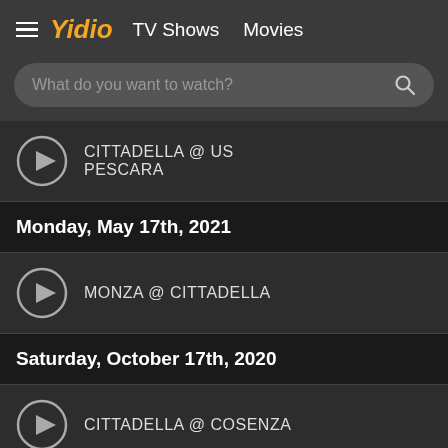Yidio  TV Shows  Movies
What do you want to watch?
CITTADELLA @ US PESCARA
Monday, May 17th, 2021
MONZA @ CITTADELLA
Saturday, October 17th, 2020
CITTADELLA @ COSENZA
Saturday, September 28th, 2019